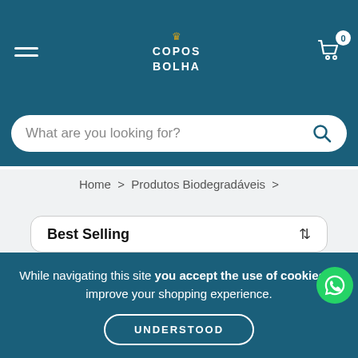[Figure (screenshot): Copos Bolha e-commerce website header with hamburger menu, logo, and cart icon with 0 items]
What are you looking for?
Home > Produtos Biodegradáveis >
Best Selling
7%
18%
While navigating this site you accept the use of cookies to improve your shopping experience.
UNDERSTOOD